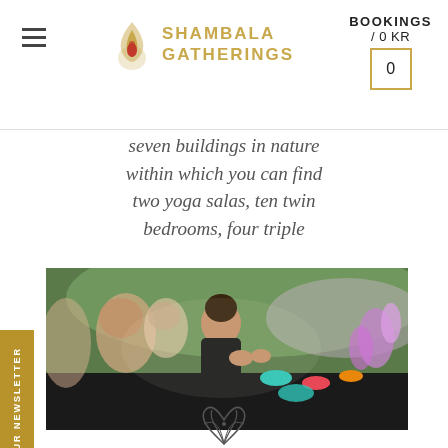Shambala Gatherings — BOOKINGS / 0 KR
seven buildings in nature within which you can find two yoga salas, ten twin bedrooms, four triple
[Figure (photo): Group of people sitting outdoors at a long table, laughing and enjoying a meal together surrounded by nature and colourful flowers.]
[Figure (logo): Decorative lotus/flower illustration at the bottom center of the page.]